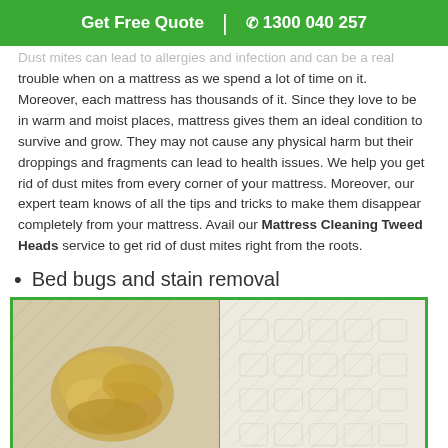Get Free Quote  | ✆ 1300 040 257
Dust mites can lead to allergies and infection and can be a real trouble when on a mattress as we spend a lot of time on it. Moreover, each mattress has thousands of it. Since they love to be in warm and moist places, mattress gives them an ideal condition to survive and grow. They may not cause any physical harm but their droppings and fragments can lead to health issues. We help you get rid of dust mites from every corner of your mattress. Moreover, our expert team knows of all the tips and tricks to make them disappear completely from your mattress. Avail our Mattress Cleaning Tweed Heads service to get rid of dust mites right from the roots.
Bed bugs and stain removal
[Figure (photo): Before and after comparison of mattress cleaning: left side shows a yellow/brown stain on white mattress fabric, right side shows clean white mattress fabric without stain.]